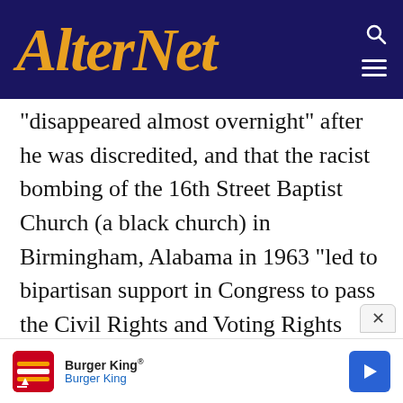AlterNet
“disappeared almost overnight” after he was discredited, and that the racist bombing of the 16th Street Baptist Church (a black church) in Birmingham, Alabama in 1963 “led to bipartisan support in Congress to pass the Civil Rights and Voting Rights acts that changed our country for the better.” And history, according to Comey, shows that sooner or later, Americans “resume our upward march.”
[Figure (other): Burger King advertisement banner with Burger King logo, name, and navigation arrow icon]